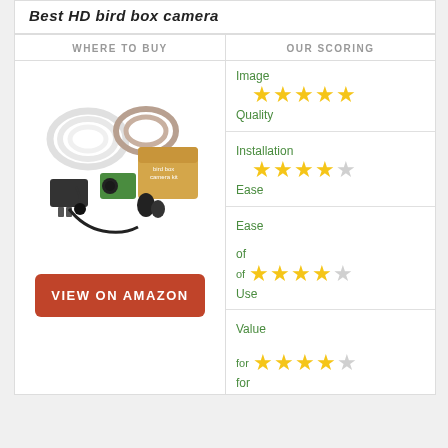Best HD bird box camera
| WHERE TO BUY | OUR SCORING |
| --- | --- |
| [product image + VIEW ON AMAZON button] | Image Quality: 5 stars
Installation Ease: 4 stars
Ease of Use: 4.5 stars
Value for: 4.5 stars |
[Figure (photo): Bird box camera kit product photo showing cables, power adapter, green mini camera, lenses, and a branded box]
VIEW ON AMAZON